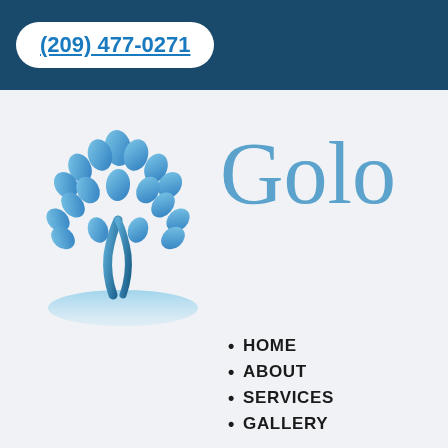(209) 477-0271
[Figure (logo): Blue stylized tree logo with leaf-shaped canopy and curved trunk on a mound, gradient blue colors]
Golo
HOME
ABOUT
SERVICES
GALLERY